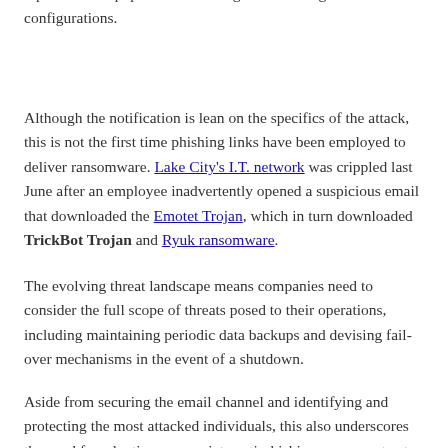replacement equipment and testing last-known-good configurations.
Although the notification is lean on the specifics of the attack, this is not the first time phishing links have been employed to deliver ransomware. Lake City's I.T. network was crippled last June after an employee inadvertently opened a suspicious email that downloaded the Emotet Trojan, which in turn downloaded TrickBot Trojan and Ryuk ransomware.
The evolving threat landscape means companies need to consider the full scope of threats posed to their operations, including maintaining periodic data backups and devising fail-over mechanisms in the event of a shutdown.
Aside from securing the email channel and identifying and protecting the most attacked individuals, this also underscores the need for adopting appropriate anti-phishing measures to stop social engineering attempts from reaching their targets' inboxes